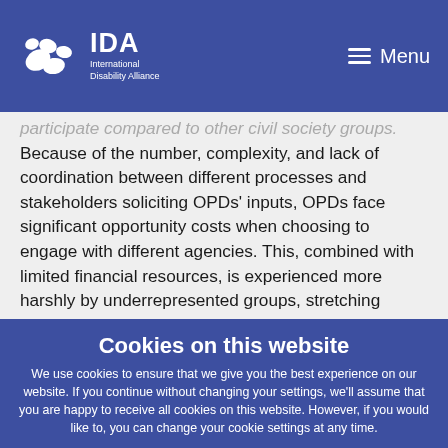IDA International Disability Alliance | Menu
participate compared to other civil society groups. Because of the number, complexity, and lack of coordination between different processes and stakeholders soliciting OPDs' inputs, OPDs face significant opportunity costs when choosing to engage with different agencies. This, combined with limited financial resources, is experienced more harshly by underrepresented groups, stretching OPDs' capacities to the maximum.
Moreover, the COVID-19 pandemic has brought uncertainty ... development Assistance (ODA) making it all the more important that investments made in supporting OPD capacity development are optimised, strategic and impactful.
Cookies on this website
We use cookies to ensure that we give you the best experience on our website. If you continue without changing your settings, we'll assume that you are happy to receive all cookies on this website. However, if you would like to, you can change your cookie settings at any time.